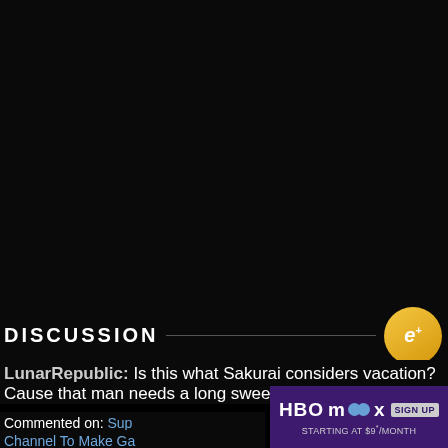[Figure (screenshot): Black video player area taking up the top portion of the screen]
DISCUSSION
[Figure (logo): e+ circular gold badge logo]
LunarRepublic: Is this what Sakurai considers vacation? Cause that man needs a long sweet vacation
Commented on: Sup... Starts YouTube Channel To Make Ga...
[Figure (other): HBO Max ad overlay: SIGN UP STARTING AT $9*/MONTH]